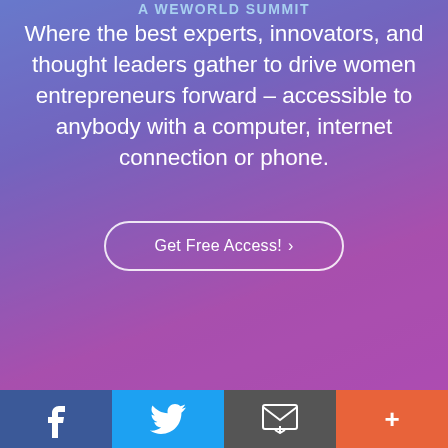A WEWORLD SUMMIT
Where the best experts, innovators, and thought leaders gather to drive women entrepreneurs forward – accessible to anybody with a computer, internet connection or phone.
Get Free Access! ›
Facebook | Twitter | Email | More